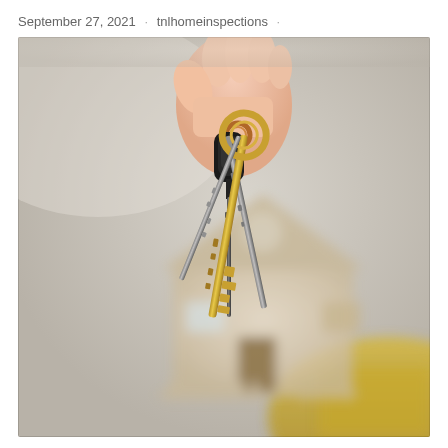September 27, 2021 · tnlhomeinspections ·
[Figure (photo): A hand holding a bundle of keys (including a large ornate golden key, a black car key fob, and several silver/metal keys on a ring) in the foreground, with a blurred wooden miniature house model in the background on a light gray/beige surface.]